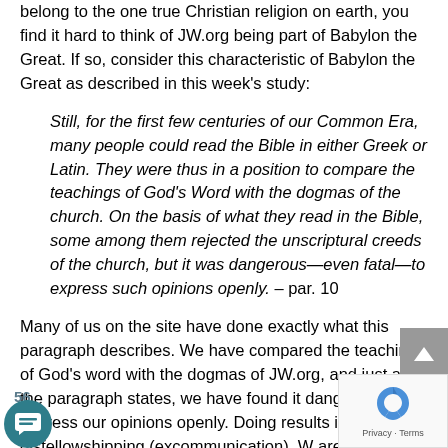belong to the one true Christian religion on earth, you find it hard to think of JW.org being part of Babylon the Great. If so, consider this characteristic of Babylon the Great as described in this week's study:
Still, for the first few centuries of our Common Era, many people could read the Bible in either Greek or Latin. They were thus in a position to compare the teachings of God's Word with the dogmas of the church. On the basis of what they read in the Bible, some among them rejected the unscriptural creeds of the church, but it was dangerous—even fatal—to express such opinions openly. – par. 10
Many of us on the site have done exactly what this paragraph describes. We have compared the teachings of God's word with the dogmas of JW.org, and just as the paragraph states, we have found it dangerous to express our opinions openly. Doing results in disfellowshipping (excommunication). W are shunned by everyone we have come to love, b family and friends. This is what happens when we